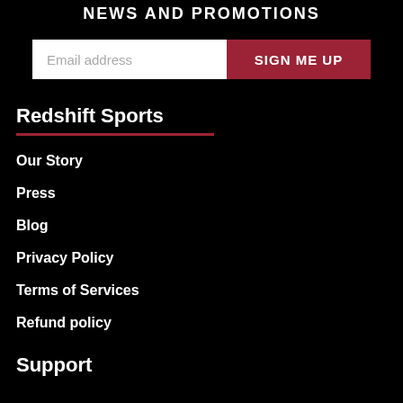NEWS AND PROMOTIONS
Email address
SIGN ME UP
Redshift Sports
Our Story
Press
Blog
Privacy Policy
Terms of Services
Refund policy
Support